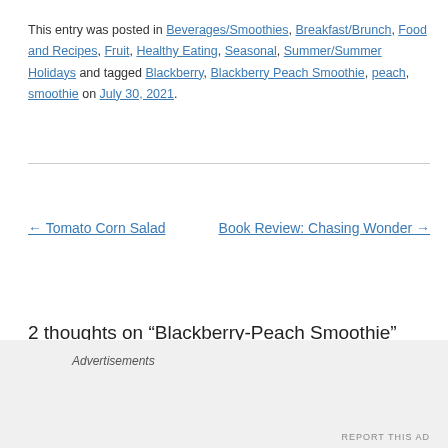This entry was posted in Beverages/Smoothies, Breakfast/Brunch, Food and Recipes, Fruit, Healthy Eating, Seasonal, Summer/Summer Holidays and tagged Blackberry, Blackberry Peach Smoothie, peach, smoothie on July 30, 2021.
← Tomato Corn Salad
Book Review: Chasing Wonder →
2 thoughts on “Blackberry-Peach Smoothie”
Advertisements